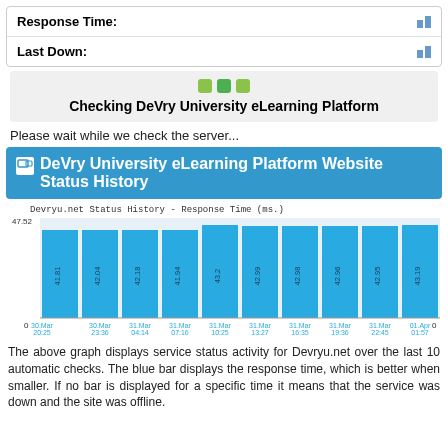Response Time:
Last Down:
Checking DeVry University eLearning Platform
Please wait while we check the server...
DeVry University eLearning Platform Website Status History
[Figure (bar-chart): Devryu.net Status History – Response Time (ms.)]
The above graph displays service status activity for Devryu.net over the last 10 automatic checks. The blue bar displays the response time, which is better when smaller. If no bar is displayed for a specific time it means that the service was down and the site was offline.